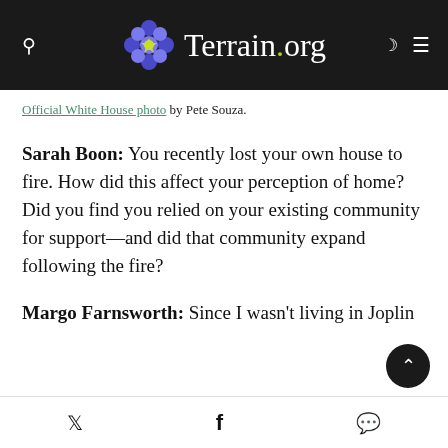Terrain.org
Official White House photo by Pete Souza.
Sarah Boon: You recently lost your own house to fire. How did this affect your perception of home? Did you find you relied on your existing community for support—and did that community expand following the fire?
Margo Farnsworth: Since I wasn't living in Joplin
Twitter  Facebook  Messenger